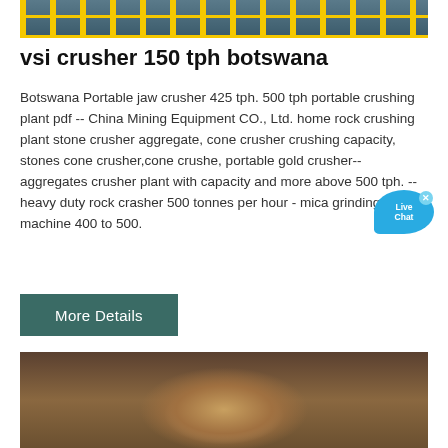[Figure (photo): Top portion of industrial mining/crushing equipment facility with yellow railings, aerial view]
vsi crusher 150 tph botswana
Botswana Portable jaw crusher 425 tph. 500 tph portable crushing plant pdf -- China Mining Equipment CO., Ltd. home rock crushing plant stone crusher aggregate, cone crusher crushing capacity, stones cone crusher,cone crushe, portable gold crusher-- aggregates crusher plant with capacity and more above 500 tph. -- heavy duty rock crasher 500 tonnes per hour - mica grinding machine 400 to 500.
[Figure (other): Live Chat widget button]
More Details
[Figure (photo): Large industrial cone crusher being installed in a mining facility, workers in blue uniforms visible around a large circular crusher component, industrial warehouse setting]